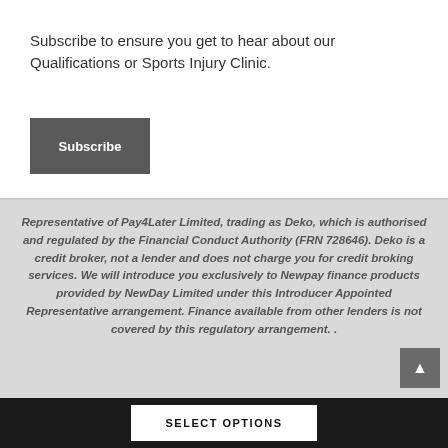Subscribe to ensure you get to hear about our Qualifications or Sports Injury Clinic.
[Figure (other): Subscribe button — dark grey rectangular button with white bold text 'Subscribe']
Representative of Pay4Later Limited, trading as Deko, which is authorised and regulated by the Financial Conduct Authority (FRN 728646). Deko is a credit broker, not a lender and does not charge you for credit broking services. We will introduce you exclusively to Newpay finance products provided by NewDay Limited under this Introducer Appointed Representative arrangement. Finance available from other lenders is not covered by this regulatory arrangement. .
[Figure (other): Scroll-to-top button — dark grey square button with upward arrow]
[Figure (other): SELECT OPTIONS button — white rectangular button on dark background bar at bottom of page]